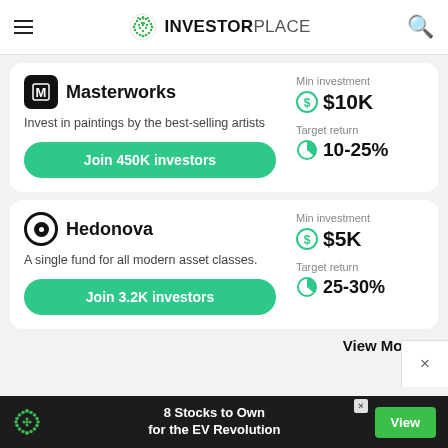INVESTORPLACE
Masterworks
Invest in paintings by the best-selling artists
Join 450K investors
Min investment $10K
Target return 10-25%
Hedonova
A single fund for all modern asset classes.
Join 3.2K investors
Min investment $5K
Target return 25-30%
View More >
8 Stocks to Own for the EV Revolution
View